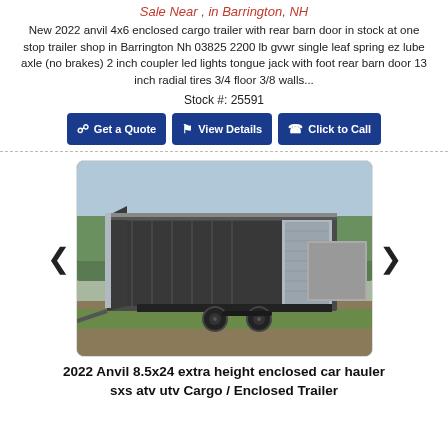Sale Near , in Barrington, NH
New 2022 anvil 4x6 enclosed cargo trailer with rear barn door in stock at one stop trailer shop in Barrington Nh 03825 2200 lb gvwr single leaf spring ez lube axle (no brakes) 2 inch coupler led lights tongue jack with foot rear barn door 13 inch radial tires 3/4 floor 3/8 walls...
Stock #: 25591
Get a Quote | View Details | Click to Call
[Figure (photo): Photo of a large dark gray enclosed cargo trailer (2022 Anvil 8.5x24 extra height) parked outdoors on grass/dirt, with trees in background. Trailer has a side door with diamond plate accents and dual axles.]
2022 Anvil 8.5x24 extra height enclosed car hauler sxs atv utv Cargo / Enclosed Trailer